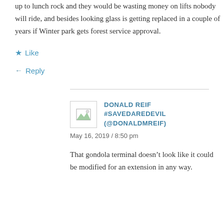up to lunch rock and they would be wasting money on lifts nobody will ride, and besides looking glass is getting replaced in a couple of years if Winter park gets forest service approval.
Like
Reply
DONALD REIF #SAVEDAREDEVIL (@DONALDMREIF)
May 16, 2019 / 8:50 pm
That gondola terminal doesn’t look like it could be modified for an extension in any way.